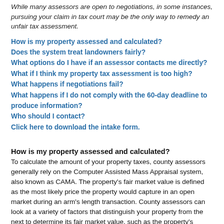While many assessors are open to negotiations, in some instances, pursuing your claim in tax court may be the only way to remedy an unfair tax assessment.
How is my property assessed and calculated?
Does the system treat landowners fairly?
What options do I have if an assessor contacts me directly?
What if I think my property tax assessment is too high?
What happens if negotiations fail?
What happens if I do not comply with the 60-day deadline to produce information?
Who should I contact?
Click here to download the intake form.
How is my property assessed and calculated?
To calculate the amount of your property taxes, county assessors generally rely on the Computer Assisted Mass Appraisal system, also known as CAMA. The property's fair market value is defined as the most likely price the property would capture in an open market during an arm's length transaction. County assessors can look at a variety of factors that distinguish your property from the next to determine its fair market value, such as the property's square footage, physical features, parking, etc.